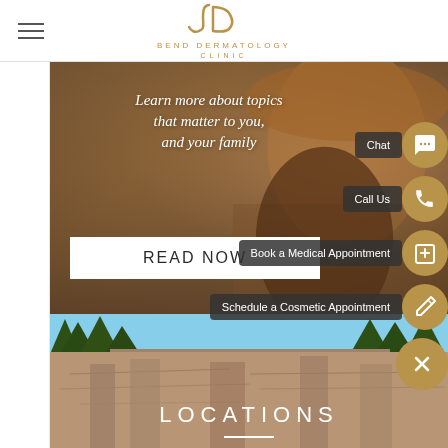[Figure (logo): Bend Dermatology Clinic logo with stylized D monogram in gold/brown and text 'BEND DERMATOLOGY CLINIC']
[Figure (photo): Hero banner with woman wearing a hat, warm brown tones, overlay text about learning topics]
Learn more about topics that matter to you, and your family
READ NOW
Chat
Call Us
Book a Medical Appointment
Schedule a Cosmetic Appointment
[Figure (photo): Outdoor landscape photo showing rocky cliffs and trees near Bend, Oregon]
LOCATIONS